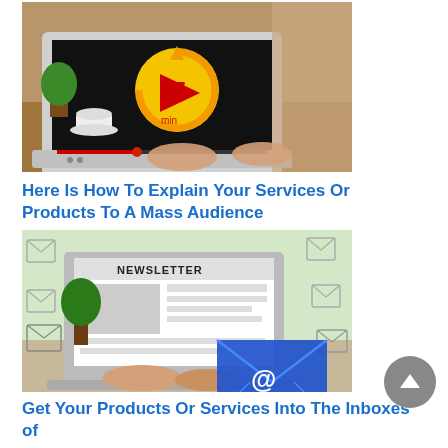[Figure (photo): Person typing on a laptop displaying a 5-minute timer video with red play button icon on a black screen, coffee cup and plant visible in background on a wooden desk]
Here Is How To Explain Your Services Or Products To A Mass Audience
[Figure (photo): Person typing on a laptop displaying a newsletter webpage, with email envelope icons floating around, and a large blue email envelope with @ symbol in foreground]
Get Your Products Or Services Into The Inboxes of